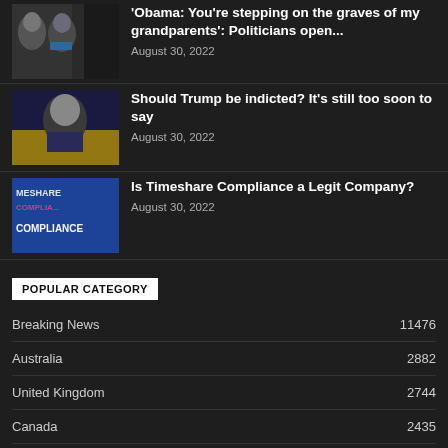[Figure (photo): Thumbnail image of politicians]
'Obama: You're stepping on the graves of my grandparents': Politicians open...
August 30, 2022
[Figure (photo): Thumbnail image of man in suit, Merrick Garland]
Should Trump be indicted? It's still too soon to say
August 30, 2022
[Figure (photo): Thumbnail image with Timeshare Compliance text overlay]
Is Timeshare Compliance a Legit Company?
August 30, 2022
POPULAR CATEGORY
Breaking News  11476
Australia  2882
United Kingdom  2744
Canada  2435